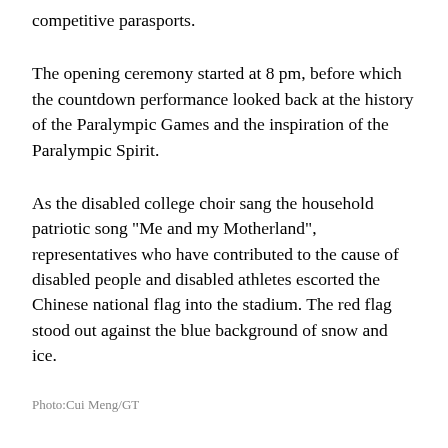competitive parasports.
The opening ceremony started at 8 pm, before which the countdown performance looked back at the history of the Paralympic Games and the inspiration of the Paralympic Spirit.
As the disabled college choir sang the household patriotic song "Me and my Motherland", representatives who have contributed to the cause of disabled people and disabled athletes escorted the Chinese national flag into the stadium. The red flag stood out against the blue background of snow and ice.
Photo:Cui Meng/GT